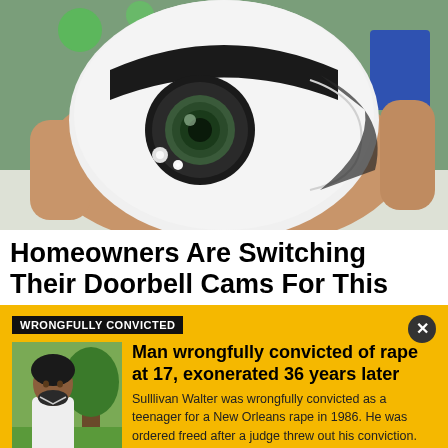[Figure (photo): A hand holding a white dome-shaped security camera with a lens visible on the front, photographed against an indoor background with green bokeh lights.]
Homeowners Are Switching Their Doorbell Cams For This
WRONGFULLY CONVICTED
[Figure (photo): Portrait photo of a middle-aged Black man with a beard and natural hair, wearing a white shirt, standing outdoors near a tree.]
Man wrongfully convicted of rape at 17, exonerated 36 years later
Sulllivan Walter was wrongfully convicted as a teenager for a New Orleans rape in 1986. He was ordered freed after a judge threw out his conviction.